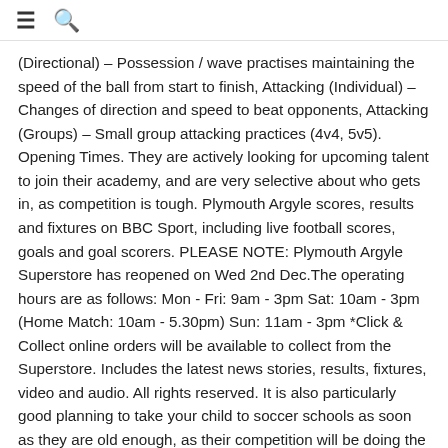≡ 🔍
(Directional) – Possession / wave practises maintaining the speed of the ball from start to finish, Attacking (Individual) – Changes of direction and speed to beat opponents, Attacking (Groups) – Small group attacking practices (4v4, 5v5). Opening Times. They are actively looking for upcoming talent to join their academy, and are very selective about who gets in, as competition is tough. Plymouth Argyle scores, results and fixtures on BBC Sport, including live football scores, goals and goal scorers. PLEASE NOTE: Plymouth Argyle Superstore has reopened on Wed 2nd Dec.The operating hours are as follows: Mon - Fri: 9am - 3pm Sat: 10am - 3pm (Home Match: 10am - 5.30pm) Sun: 11am - 3pm *Click & Collect online orders will be available to collect from the Superstore. Includes the latest news stories, results, fixtures, video and audio. All rights reserved. It is also particularly good planning to take your child to soccer schools as soon as they are old enough, as their competition will be doing the same, so it enables them to develop their talents in line with the same level as their peers. Alternatively, please email